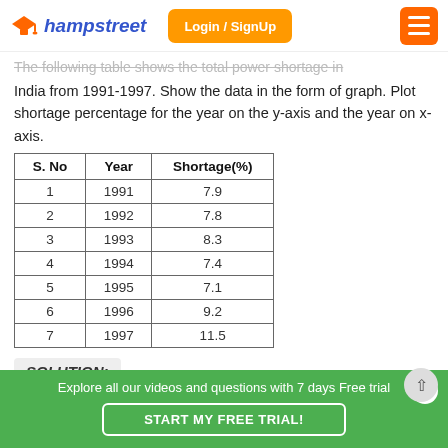Champstreet — Login / SignUp
The following table shows the total power shortage in India from 1991-1997. Show the data in the form of graph. Plot shortage percentage for the year on the y-axis and the year on x-axis.
| S. No | Year | Shortage(%) |
| --- | --- | --- |
| 1 | 1991 | 7.9 |
| 2 | 1992 | 7.8 |
| 3 | 1993 | 8.3 |
| 4 | 1994 | 7.4 |
| 5 | 1995 | 7.1 |
| 6 | 1996 | 9.2 |
| 7 | 1997 | 11.5 |
SOLUTION:
Explore all our videos and questions with 7 days Free trial
START MY FREE TRIAL!